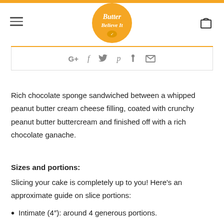Butter Believe It - logo header with hamburger menu and cart icon
[Figure (logo): Butter Believe It circular badge logo in gold/yellow with white script text]
Social share icons: Google+, Facebook, Twitter, Pinterest, Yummly, Email
Rich chocolate sponge sandwiched between a whipped peanut butter cream cheese filling, coated with crunchy peanut butter buttercream and finished off with a rich chocolate ganache.
Sizes and portions:
Slicing your cake is completely up to you! Here’s an approximate guide on slice portions:
Intimate (4”): around 4 generous portions.